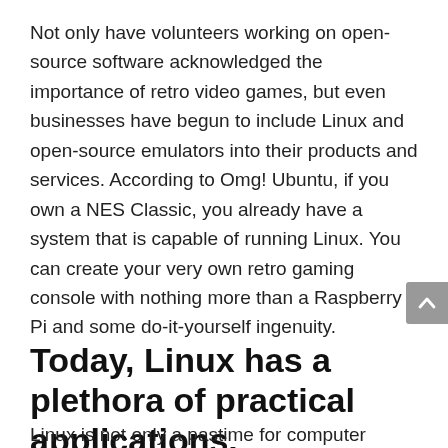Not only have volunteers working on open-source software acknowledged the importance of retro video games, but even businesses have begun to include Linux and open-source emulators into their products and services. According to Omg! Ubuntu, if you own a NES Classic, you already have a system that is capable of running Linux. You can create your very own retro gaming console with nothing more than a Raspberry Pi and some do-it-yourself ingenuity.
Today, Linux has a plethora of practical applications.
Linux is not only a pastime for computer hackers;